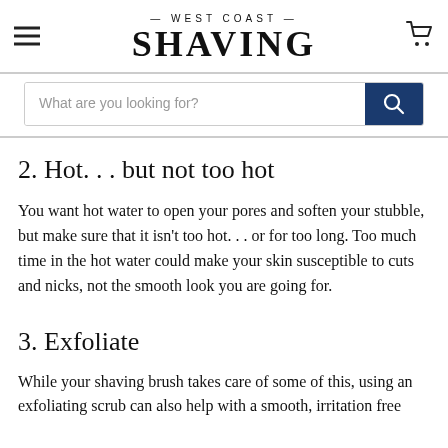— WEST COAST — SHAVING
2. Hot. . . but not too hot
You want hot water to open your pores and soften your stubble, but make sure that it isn't too hot. . . or for too long. Too much time in the hot water could make your skin susceptible to cuts and nicks, not the smooth look you are going for.
3. Exfoliate
While your shaving brush takes care of some of this, using an exfoliating scrub can also help with a smooth, irritation free